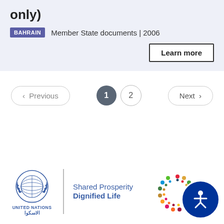only)
BAHRAIN  Member State documents | 2006
Learn more
< Previous  1  2  Next >
[Figure (logo): United Nations logo with globe, text 'UNITED NATIONS' and Arabic text, with 'Shared Prosperity Dignified Life' tagline, SDG colorful dots circle, and accessibility icon]
UNITED NATIONS | Shared Prosperity Dignified Life